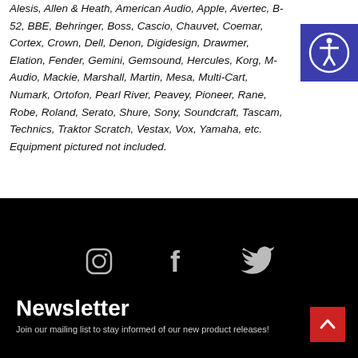Alesis, Allen & Heath, American Audio, Apple, Avertec, B-52, BBE, Behringer, Boss, Cascio, Chauvet, Coemar, Cortex, Crown, Dell, Denon, Digidesign, Drawmer, Elation, Fender, Gemini, Gemsound, Hercules, Korg, M-Audio, Mackie, Marshall, Martin, Mesa, Multi-Cart, Numark, Ortofon, Pearl River, Peavey, Pioneer, Rane, Robe, Roland, Serato, Shure, Sony, Soundcraft, Tascam, Technics, Traktor Scratch, Vestax, Vox, Yamaha, etc. Equipment pictured not included.
[Figure (illustration): Accessibility icon button - blue square with white person in circle]
[Figure (illustration): Social media icons: Instagram, Facebook, Twitter in gray on black background]
Newsletter
Join our mailing list to stay informed of our new product releases!